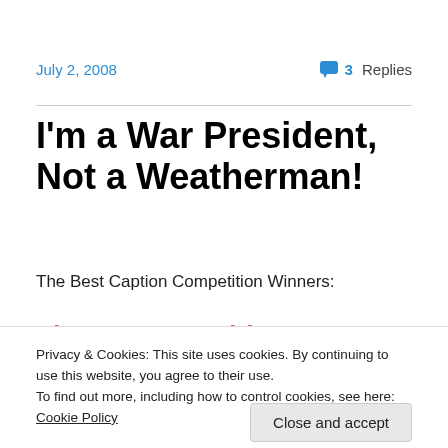July 2, 2008    3 Replies
I'm a War President, Not a Weatherman!
The Best Caption Competition Winners:
Privacy & Cookies: This site uses cookies. By continuing to use this website, you agree to their use.
To find out more, including how to control cookies, see here: Cookie Policy
Close and accept
emergencies, I have a war to fight.